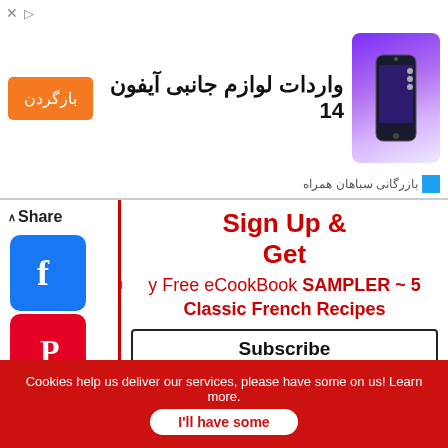[Figure (screenshot): Advertisement banner for iPhone 14 accessories import with orange button, Persian text, and purple iPhone image]
Share
[Figure (logo): Facebook social share icon - blue rounded square]
[Figure (logo): Pinterest social share icon - red rounded square]
[Figure (logo): Reddit social share icon - orange rounded square]
[Figure (logo): WhatsApp social share icon - green rounded square]
[Figure (logo): Tumblr social share icon - dark blue rounded square]
Sign Up & Get
y Free eCookBook SAMPLER ~ 5 Classic French Recipes
Subscribe
* indicates required
Email Address *
Cookies help us deliver our services, please have some on us! Learn more.
I'll have some